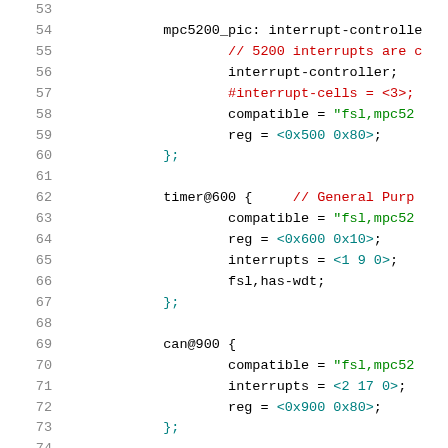Source code listing showing device tree nodes: mpc5200_pic interrupt-controller (lines 53-60), timer@600 (lines 62-67), can@900 (lines 69-73)